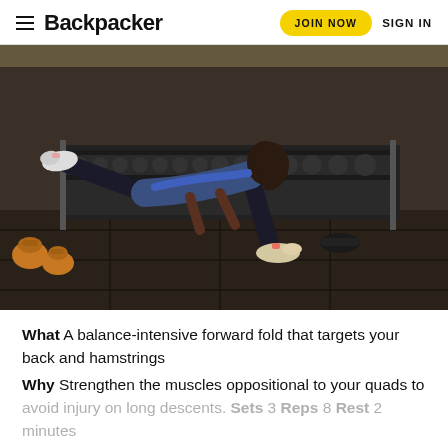Backpacker  JOIN NOW  SIGN IN
[Figure (photo): Woman performing a single-leg deadlift exercise in a gym, surrounded by dumbbells and gym equipment. She wears a blue top and black leggings.]
What A balance-intensive forward fold that targets your back and hamstrings
Why Strengthen the muscles oppositional to your quads to avoid injury on long descents. Sets 3 Reps 8 Rest 2 minutes